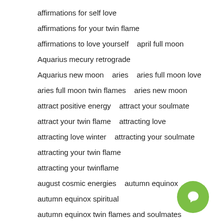affirmations for self love
affirmations for your twin flame
affirmations to love yourself   april full moon
Aquarius mecury retrograde
Aquarius new moon   aries   aries full moon love
aries full moon twin flames   aries new moon
attract positive energy   attract your soulmate
attract your twin flame   attracting love
attracting love winter   attracting your soulmate
attracting your twin flame
attracting your twinflame
august cosmic energies   autumn equinox
autumn equinox spiritual
autumn equinox twin flames and soulmates